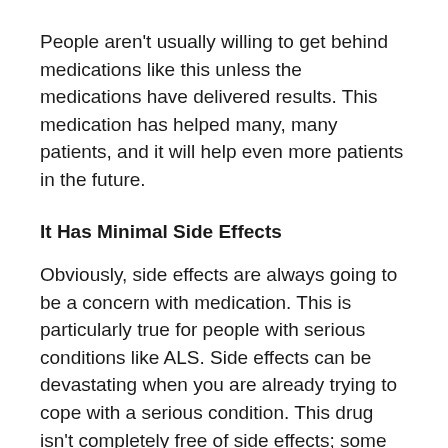People aren't usually willing to get behind medications like this unless the medications have delivered results. This medication has helped many, many patients, and it will help even more patients in the future.
It Has Minimal Side Effects
Obviously, side effects are always going to be a concern with medication. This is particularly true for people with serious conditions like ALS. Side effects can be devastating when you are already trying to cope with a serious condition. This drug isn't completely free of side effects; some patients have encountered minor side effects. With that said, the effects aren't particularly severe.